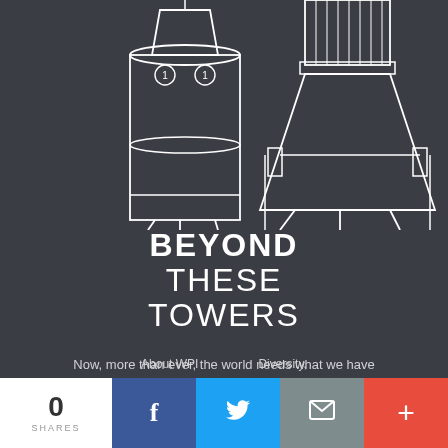[Figure (illustration): White line-art illustration of two industrial/architectural towers on a dark gray background. Left tower is a cylindrical silo shape with a peaked top roof and label '1'. Right tower is a conical/funnel shape widening at the base with struts, on a dark background.]
BEYOND THESE TOWERS
Now, more than ever, the world needs what we have created and what we do at WPI.
> BE A PART OF IT
About WPI
Diversity,
0 SHARES
f
t
✉
+